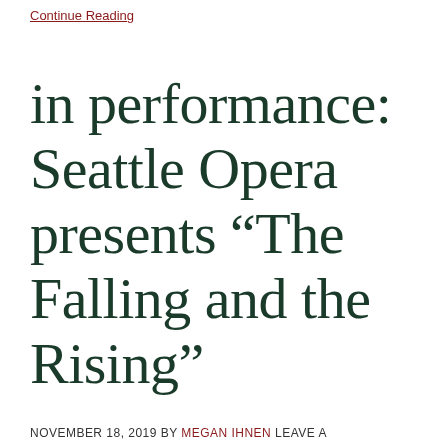Continue Reading
in performance: Seattle Opera presents “The Falling and the Rising”
NOVEMBER 18, 2019 BY MEGAN IHNEN LEAVE A